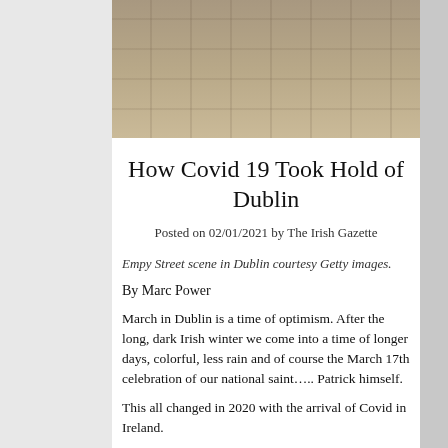[Figure (photo): Empty street scene in Dublin — wide paved plaza with stone tiles receding to background, deserted]
How Covid 19 Took Hold of Dublin
Posted on 02/01/2021 by The Irish Gazette
Empy Street scene in Dublin courtesy Getty images.
By Marc Power
March in Dublin is a time of optimism. After the long, dark Irish winter we come into a time of longer days, colorful, less rain and of course the March 17th celebration of our national saint….. Patrick himself.
This all changed in 2020 with the arrival of Covid in Ireland.